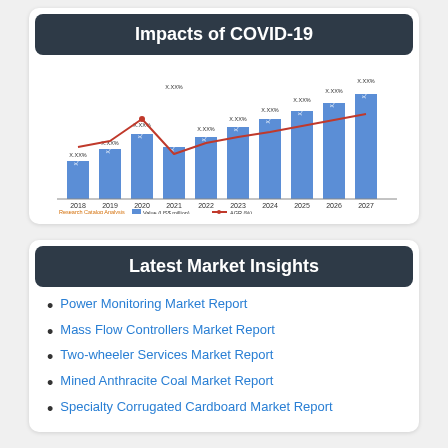Impacts of COVID-19
[Figure (bar-chart): Impacts of COVID-19]
Latest Market Insights
Power Monitoring Market Report
Mass Flow Controllers Market Report
Two-wheeler Services Market Report
Mined Anthracite Coal Market Report
Specialty Corrugated Cardboard Market Report